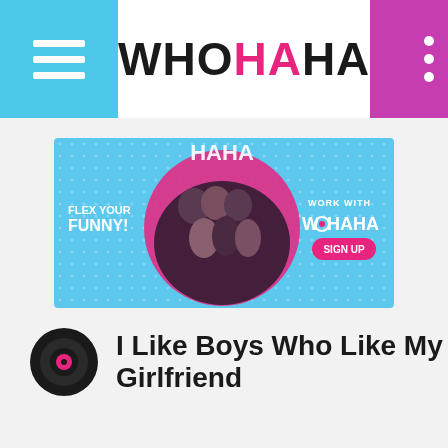WHOHAHA
[Figure (infographic): WhoHaHa promotional banner: light blue background with group photo of women, pink circle, text 'FLEX YOUR FUNNY!' on the left, 'WORK WITH WHOHAHA' and 'SIGN UP' button on right]
I Like Boys Who Like My Girlfriend